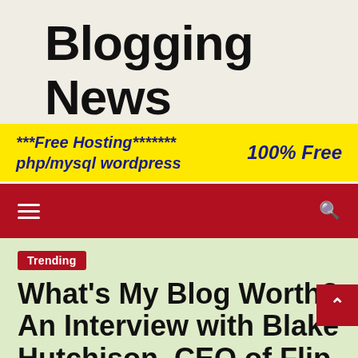Blogging News
[Figure (infographic): Yellow advertising banner with bold dark blue italic text: '***Free Hosting******* php/mysql wordpress' on the left and '100% Free' on the right]
Navigation bar with hamburger menu icon and search icon on dark red background
Trending
What's My Blog Worth? An Interview with Blake Hutchison, CEO of Flip
2 years ago  Techquicks